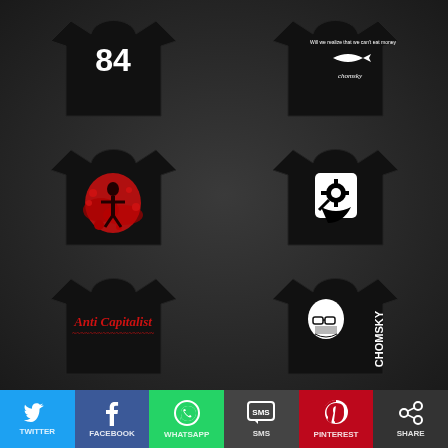[Figure (photo): Grid of 6 black t-shirts with various political/activist graphic prints: '84' text shirt, Chomsky fish logo shirt, red splatter figure shirt, gear/wrench icon shirt, Anti-Capitalist (Coca-Cola style script) shirt, Chomsky portrait shirt]
[Figure (infographic): Social media share buttons bar at bottom: Twitter (blue), Facebook (dark blue), WhatsApp (green), SMS (dark gray), Pinterest (red), and another share button (dark gray)]